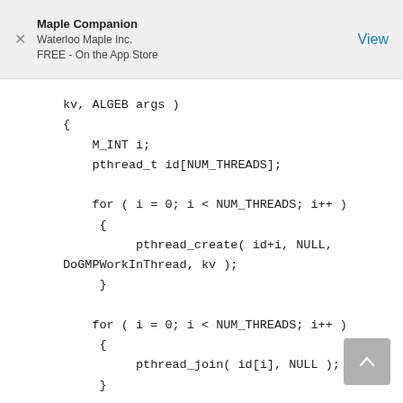Maple Companion
Waterloo Maple Inc.
FREE - On the App Store
View
kv, ALGEB args )
{
    M_INT i;
    pthread_t id[NUM_THREADS];

    for ( i = 0; i < NUM_THREADS; i++ )
     {
          pthread_create( id+i, NULL,
DoGMPWorkInThread, kv );
     }

    for ( i = 0; i < NUM_THREADS; i++ )
     {
          pthread_join( id[i], NULL );
     }